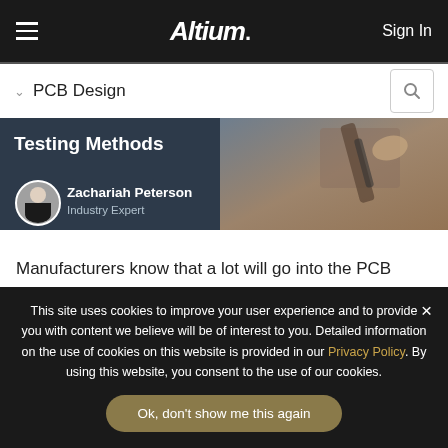Altium — Sign In
PCB Design
[Figure (screenshot): Article header banner for a PCB testing methods article, showing author Zachariah Peterson, Industry Expert with circular avatar photo, dark teal background, and a photograph of PCB testing equipment on the right side. Title reads 'Testing Methods'.]
Manufacturers know that a lot will go into the PCB fabrication process in terms of quality control and PCB testing. There are many quality checks used to
This site uses cookies to improve your user experience and to provide you with content we believe will be of interest to you. Detailed information on the use of cookies on this website is provided in our Privacy Policy. By using this website, you consent to the use of our cookies.
Ok, don't show me this again